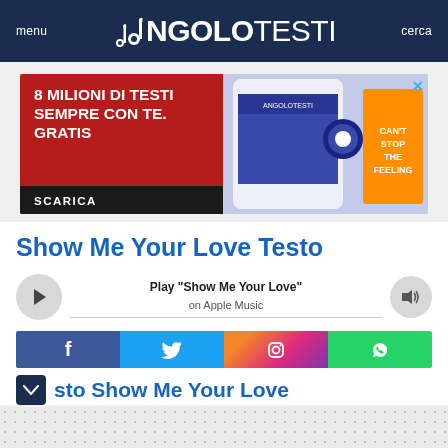menu  ANGOLOTESTI  cerca
[Figure (infographic): Advertisement banner: red background with text '8 MILIONI DI TESTI SEMPRE CON TE. GRATIS' and SCARICA button, with phone/app image on right side and close X button]
Show Me Your Love Testo
[Figure (other): Music player bar with play button, 'Play "Show Me Your Love" on Apple Music' text, and volume button]
[Figure (other): Social media sharing bar with Facebook, Twitter, Instagram, and WhatsApp buttons]
Testo Show Me Your Love